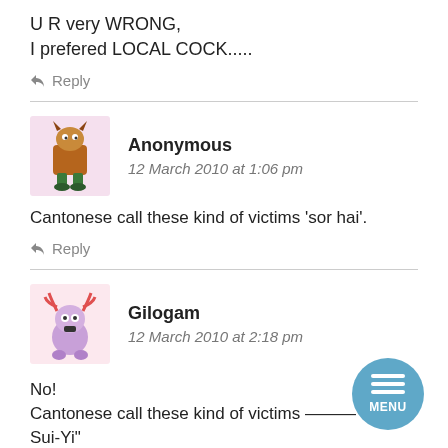U R very WRONG,
I prefered LOCAL COCK.....
↩ Reply
Anonymous
12 March 2010 at 1:06 pm
Cantonese call these kind of victims ‘sor hai’.
↩ Reply
Gilogam
12 March 2010 at 2:18 pm
No!
Cantonese call these kind of victims ——“Tai-Sui-Yi”